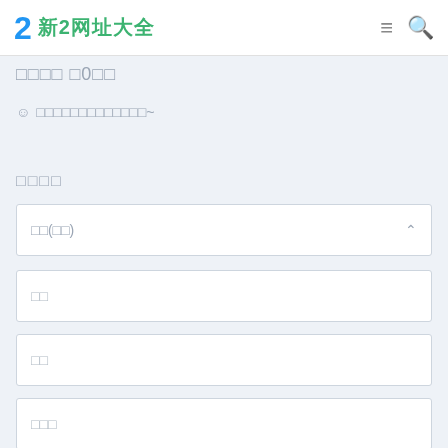2 新2网址大全
□□□□ □0□□
☺ □□□□□□□□□□□□□~
□□□□
□□(□□)
□□
□□
□□□
[Figure (other): CAPTCHA image showing stylized text '7XDGB' in purple italic font]